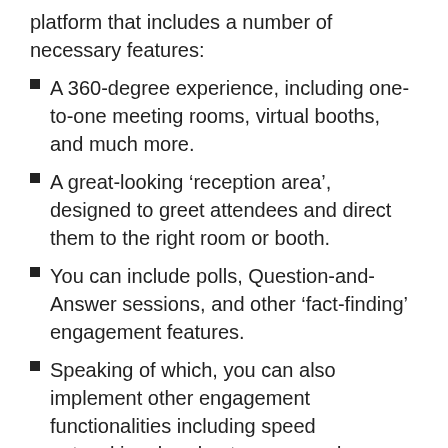platform that includes a number of necessary features:
A 360-degree experience, including one-to-one meeting rooms, virtual booths, and much more.
A great-looking ‘reception area’, designed to greet attendees and direct them to the right room or booth.
You can include polls, Question-and-Answer sessions, and other ‘fact-finding’ engagement features.
Speaking of which, you can also implement other engagement functionalities including speed networking, breakout rooms, and more.
Combined with our Speaker and Schedule, and Registrations add-ons, you’ll have a complete live streaming platform ready to go, from within your WordPress dashboard.